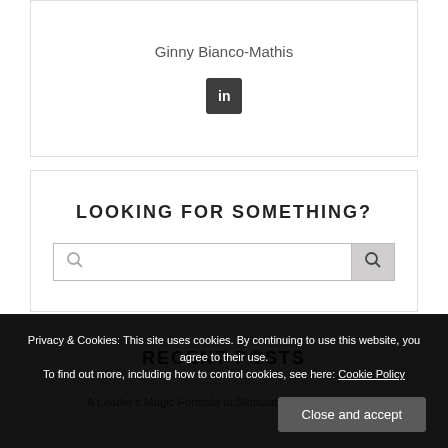Ginny Bianco-Mathis
[Figure (logo): LinkedIn icon - white 'in' on dark gray/black square background]
LOOKING FOR SOMETHING?
[Figure (other): Search bar with magnifying glass icon on left and search button on right]
RECENT POSTS
A Leader's Magic Formula to Stimulate Organizational…
Privacy & Cookies: This site uses cookies. By continuing to use this website, you agree to their use. To find out more, including how to control cookies, see here: Cookie Policy
Close and accept
Leadership Techniques for Raising Energy Levels in Hybrid